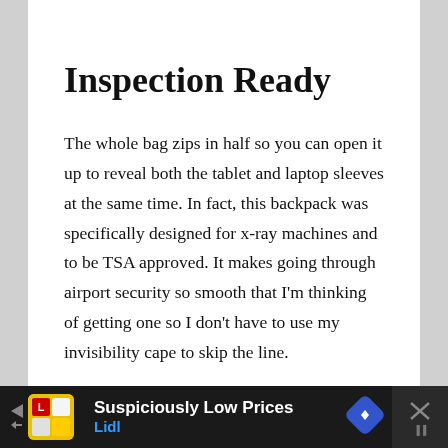Inspection Ready
The whole bag zips in half so you can open it up to reveal both the tablet and laptop sleeves at the same time. In fact, this backpack was specifically designed for x-ray machines and to be TSA approved. It makes going through airport security so smooth that I'm thinking of getting one so I don't have to use my invisibility cape to skip the line.
Suspiciously Low Prices — Lidl [advertisement]